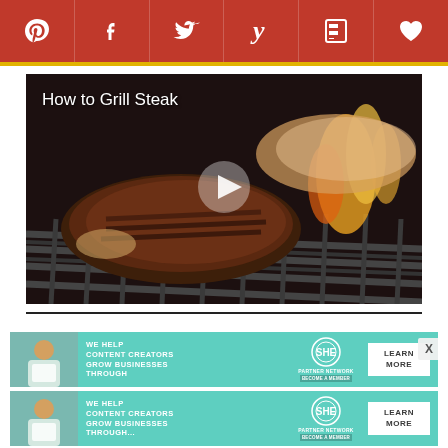[Figure (infographic): Social media sharing bar with icons for Pinterest, Facebook, Twitter, Yummly, Flipboard, and Favorites on a dark red background with a gold bottom border]
[Figure (screenshot): Video thumbnail showing grilled steak on a barbecue grill with flames, titled 'How to Grill Steak', with a white play button in the center]
[Figure (infographic): Two SHE Media Partner Network advertisement banners (teal/mint background) reading 'WE HELP CONTENT CREATORS GROW BUSINESSES THROUGH...' with LEARN MORE button. An X close button appears on the first banner.]